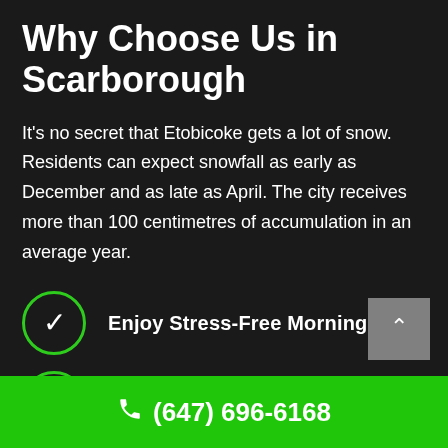Why Choose Us in Scarborough
It's no secret that Etobicoke gets a lot of snow. Residents can expect snowfall as early as December and as late as April. The city receives more than 100 centimetres of accumulation in an average year.
Enjoy Stress-Free Mornings
Save Money
(647) 696-6168